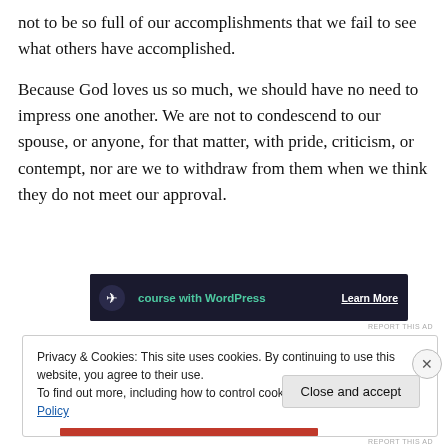not to be so full of our accomplishments that we fail to see what others have accomplished.
Because God loves us so much, we should have no need to impress one another. We are not to condescend to our spouse, or anyone, for that matter, with pride, criticism, or contempt, nor are we to withdraw from them when we think they do not meet our approval.
[Figure (screenshot): Advertisement banner with dark background showing WordPress course ad with 'Learn More' link]
REPORT THIS AD
Privacy & Cookies: This site uses cookies. By continuing to use this website, you agree to their use.
To find out more, including how to control cookies, see here: Cookie Policy
Close and accept
REPORT THIS AD